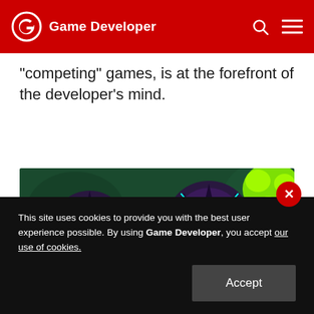Game Developer
competing games, is at the forefront of the developer's mind.
[Figure (screenshot): Colorful top-down video game screenshot showing a pink spherical spacecraft or base surrounded by dark purple spiky creature enemies and neon green flower-like entities on a dark green background.]
This site uses cookies to provide you with the best user experience possible. By using Game Developer, you accept our use of cookies.